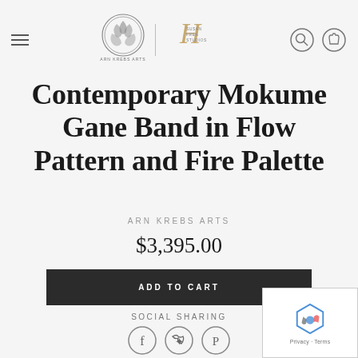ARN KREBS ARTS / SUSAN FREA STUDIOS navigation header
Contemporary Mokume Gane Band in Flow Pattern and Fire Palette
ARN KREBS ARTS
$3,395.00
ADD TO CART
SOCIAL SHARING